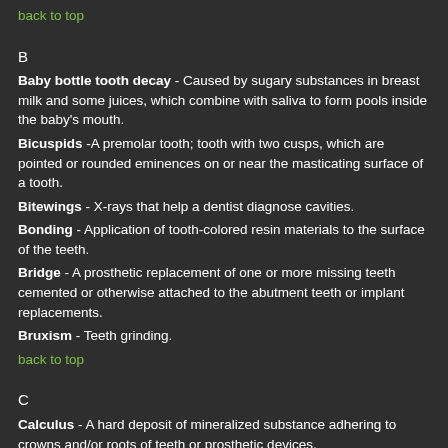back to top
B
Baby bottle tooth decay - Caused by sugary substances in breast milk and some juices, which combine with saliva to form pools inside the baby's mouth.
Bicuspids -A premolar tooth; tooth with two cusps, which are pointed or rounded eminences on or near the masticating surface of a tooth.
Bitewings - X-rays that help a dentist diagnose cavities.
Bonding - Application of tooth-colored resin materials to the surface of the teeth.
Bridge - A prosthetic replacement of one or more missing teeth cemented or otherwise attached to the abutment teeth or implant replacements.
Bruxism - Teeth grinding.
back to top
C
Calculus - A hard deposit of mineralized substance adhering to crowns and/or roots of teeth or prosthetic devices.
Canal - The narrow chamber inside the tooth's root.
Canines - Also called cuspids.